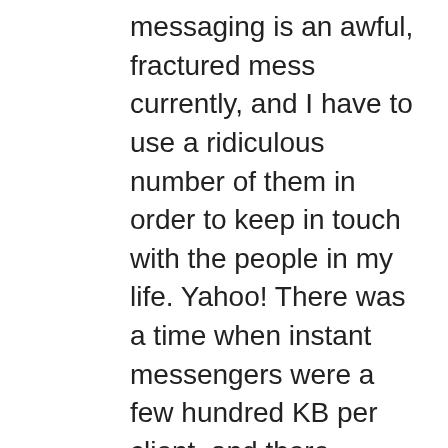messaging is an awful, fractured mess currently, and I have to use a ridiculous number of them in order to keep in touch with the people in my life. Yahoo! There was a time when instant messengers were a few hundred KB per client, and there weren't too many. It has the ability to send a single person message or broadcast . Digsby. A list of your most used instant messengers like Whatsapp, Snapchat, SMS,